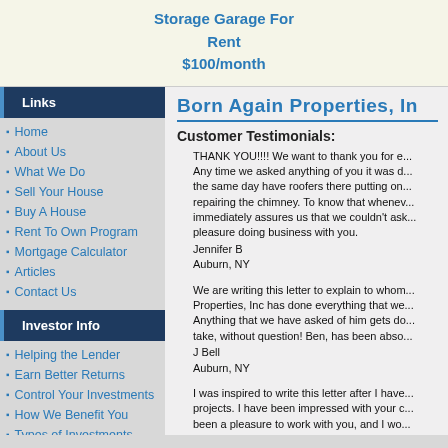Storage Garage For Rent
$100/month
Links
Home
About Us
What We Do
Sell Your House
Buy A House
Rent To Own Program
Mortgage Calculator
Articles
Contact Us
Investor Info
Helping the Lender
Earn Better Returns
Control Your Investments
How We Benefit You
Types of Investments
Getting Started
Born Again Properties, In
Customer Testimonials:
THANK YOU!!!! We want to thank you for e... Any time we asked anything of you it was d... the same day have roofers there putting on... repairing the chimney. To know that whenev... immediately assures us that we couldn't ask... pleasure doing business with you.
Jennifer B
Auburn, NY
We are writing this letter to explain to whom... Properties, Inc has done everything that we... Anything that we have asked of him gets do... take, without question! Ben, has been abso...
J Bell
Auburn, NY
I was inspired to write this letter after I have... projects. I have been impressed with your c... been a pleasure to work with you, and I wo... have a desire for excellent service. Thanks... forward to working with you in the future.
Signed...